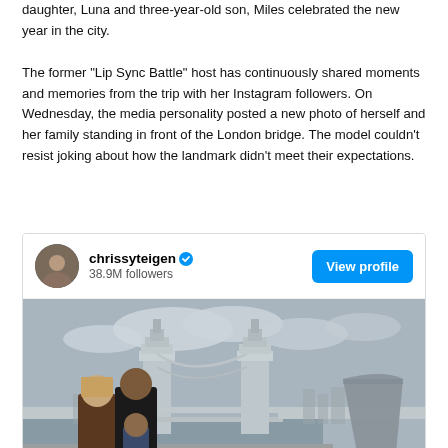daughter, Luna and three-year-old son, Miles celebrated the new year in the city.
The former "Lip Sync Battle" host has continuously shared moments and memories from the trip with her Instagram followers. On Wednesday, the media personality posted a new photo of herself and her family standing in front of the London bridge. The model couldn't resist joking about how the landmark didn't meet their expectations.
[Figure (screenshot): Instagram post embed from chrissyteigen (38.9M followers) with a View profile button and a photo of Chrissy Teigen, John Legend, and their daughter standing in front of Tower Bridge in London.]